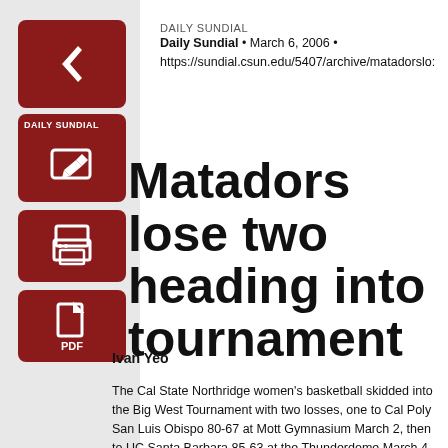Daily Sundial • March 6, 2006 • https://sundial.csun.edu/5407/archive/matadorslo
Matadors lose two heading into tournament
Ivan Yeo
The Cal State Northridge women's basketball skidded into the Big West Tournament with two losses, one to Cal Poly San Luis Obispo 80-67 at Mott Gymnasium March 2, then to UC Santa Barbara 85-63 at the Thunderdome March 4.
Against Cal Poly, the Matadors led 11-8 until Cal Poly went on a 13-1 run to lead 21-12. CSUN didn't back down as it closed out